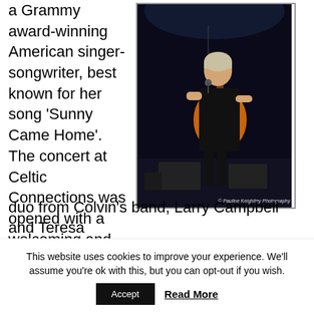a Grammy award-winning American singer-songwriter, best known for her song 'Sunny Came Home'. The concert at Celtic Connections was opened with a welcoming and accomplished duo from Colvin's band, Larry Campbell and Teresa
[Figure (photo): A woman with short grey/blonde hair playing an acoustic guitar on stage, wearing a black outfit, performing at a concert with a microphone in front of her. Photo credit: Pauline Keightley Photography]
This website uses cookies to improve your experience. We'll assume you're ok with this, but you can opt-out if you wish.